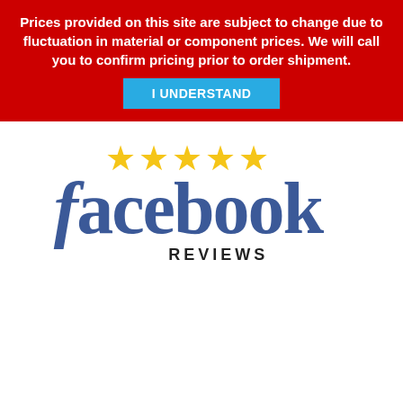Prices provided on this site are subject to change due to fluctuation in material or component prices. We will call you to confirm pricing prior to order shipment.
I UNDERSTAND
[Figure (logo): Facebook Reviews logo with five gold stars above the word 'facebook' in blue and 'REVIEWS' in dark text below]
Terms of Use | Terms of Sale | Privacy
© The Concrete Protector | Powered by Infinite Prote... Ltd.